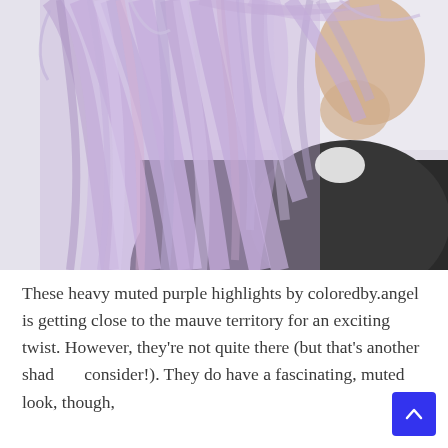[Figure (photo): Side/back view of a person with long, flowing purple-lavender highlighted hair wearing a dark jacket, against a white background.]
These heavy muted purple highlights by coloredby.angel is getting close to the mauve territory for an exciting twist. However, they're not quite there (but that's another shade to consider!). They do have a fascinating, muted look, though,